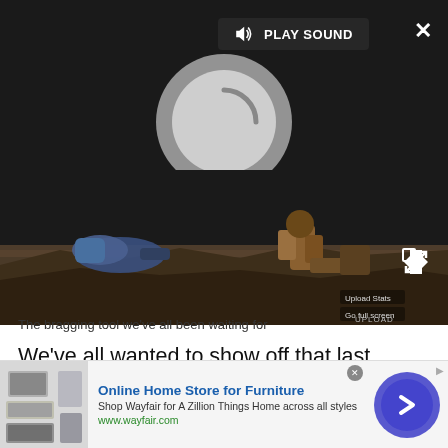[Figure (screenshot): Video player overlay with dark background, PLAY SOUND button, spinner/loading circle, pause button, close X button, and game footage screenshot showing characters on rocky terrain. Upload Studio branding visible.]
The bragging tool we've all been waiting for
We've all wanted to show off that last minute winner in FIFA or that perfect lap in Forza 5 Motorsport and with Kinect it's as simple as telling your Xbox to record a clip, then sending it to the Upload Studio to
[Figure (infographic): Advertisement banner for Wayfair: Online Home Store for Furniture. Shows furniture image on left, Wayfair logo/text in middle, and circular arrow button on right.]